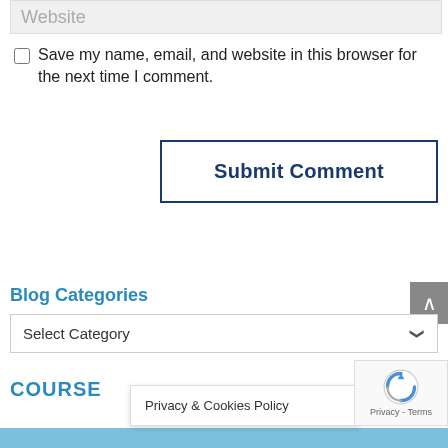Website
Save my name, email, and website in this browser for the next time I comment.
Submit Comment
Blog Categories
Select Category
COURSE
Privacy & Cookies Policy